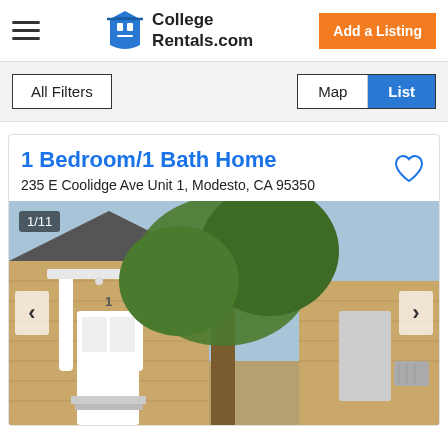College Rentals.com
All Filters | Map | List
1 Bedroom/1 Bath Home
235 E Coolidge Ave Unit 1, Modesto, CA 95350
[Figure (photo): Exterior photo of a single-story brick home with white front door and tree in foreground, image counter showing 1/11]